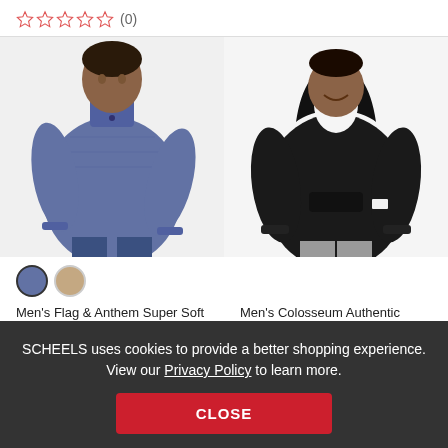☆☆☆☆☆ (0)
[Figure (photo): Man wearing a heathered navy blue 1/4 snap pullover sweater with jeans]
[Figure (photo): Man wearing a black hoodie sweatshirt with grey shorts]
Men's Flag & Anthem Super Soft 1/4 Snap 1/4 Snap
Men's Colosseum Authentic Hoodie
SCHEELS uses cookies to provide a better shopping experience. View our Privacy Policy to learn more.
CLOSE